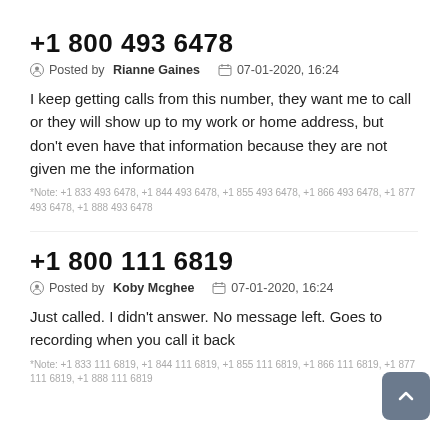+1 800 493 6478
Posted by Rianne Gaines   07-01-2020, 16:24
I keep getting calls from this number, they want me to call or they will show up to my work or home address, but don't even have that information because they are not given me the information
*Note: +1 833 493 6478, +1 844 493 6478, +1 855 493 6478, +1 866 493 6478, +1 877 493 6478, +1 888 493 6478
+1 800 111 6819
Posted by Koby Mcghee   07-01-2020, 16:24
Just called. I didn't answer. No message left. Goes to recording when you call it back
*Note: +1 833 111 6819, +1 844 111 6819, +1 855 111 6819, +1 866 111 6819, +1 877 111 6819, +1 888 111 6819